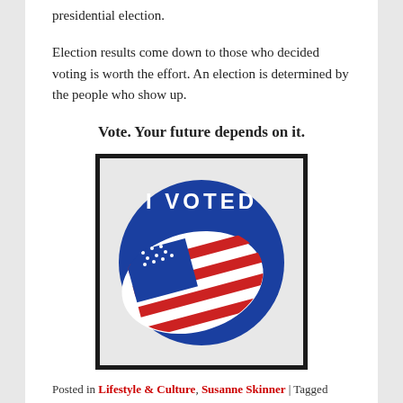presidential election.
Election results come down to those who decided voting is worth the effort. An election is determined by the people who show up.
Vote. Your future depends on it.
[Figure (illustration): An 'I VOTED' sticker showing a blue circle with white text 'I VOTED' at the top and an American flag waving in the center, on a light gray background with a thick black border frame.]
Posted in Lifestyle & Culture, Susanne Skinner | Tagged absentee ballot, elections, protest vote, right to vote, Susanne Skinner, third-party voting, United States citizen